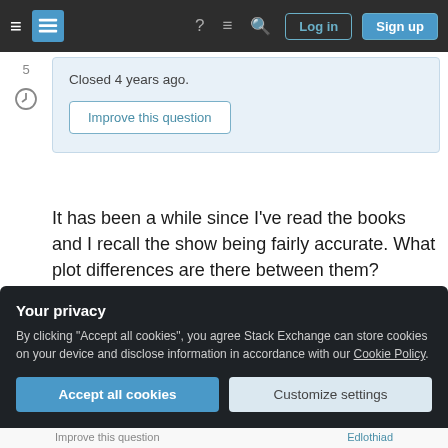Stack Exchange navigation bar with Log in and Sign up buttons
Closed 4 years ago.
Improve this question
It has been a while since I've read the books and I recall the show being fairly accurate. What plot differences are there between them?
Are any substantial, or are they all particularly minor?
Your privacy
By clicking "Accept all cookies", you agree Stack Exchange can store cookies on your device and disclose information in accordance with our Cookie Policy.
Accept all cookies
Customize settings